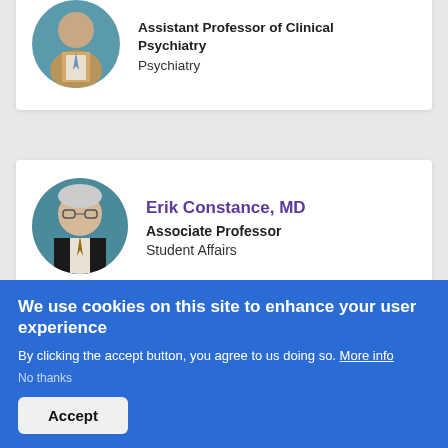[Figure (photo): Circular headshot photo of a man in a suit, top of card partially visible]
Assistant Professor of Clinical Psychiatry
Psychiatry
[Figure (photo): Circular headshot photo of Erik Constance, MD, older man with glasses in a suit]
Erik Constance, MD
Associate Professor
Student Affairs
[Figure (photo): Circular headshot photo of Jeffrey Cozzens, MD, partially visible]
Jeffrey Cozzens, MD
We use cookies on this site to enhance your user experience
By clicking the accept button, you agree to us doing so. More info
No thanks
Accept